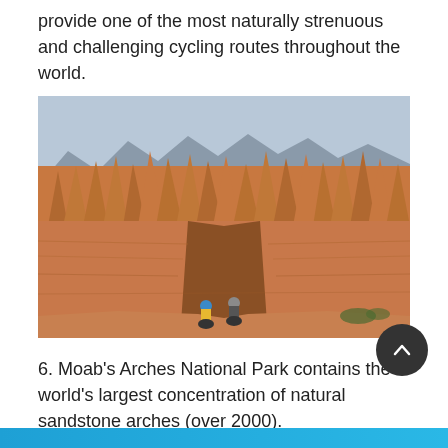provide one of the most naturally strenuous and challenging cycling routes throughout the world.
[Figure (photo): Two mountain bikers riding on red rock terrain in Moab's Arches area, with dramatic sandstone rock formations and mountains in the background under a partly cloudy sky.]
6. Moab's Arches National Park contains the world's largest concentration of natural sandstone arches (over 2000).